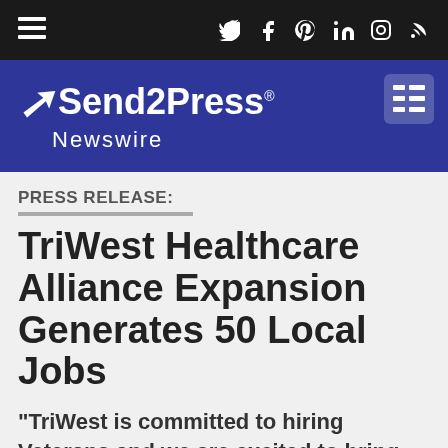Send2Press Newswire
PRESS RELEASE:
TriWest Healthcare Alliance Expansion Generates 50 Local Jobs
"TriWest is committed to hiring Veterans and we are excited to bring new jobs to Honolulu," said David J. McIntyre, Jr., TriWest's President & CEO. "I can think of no